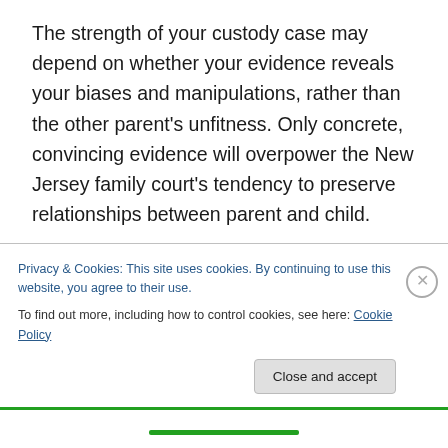The strength of your custody case may depend on whether your evidence reveals your biases and manipulations, rather than the other parent's unfitness. Only concrete, convincing evidence will overpower the New Jersey family court's tendency to preserve relationships between parent and child.

By the same token, while a parent's confessed adultery may not impact a custody or parenting time award, excessively bad-mouthing the other parent, or exposing
Privacy & Cookies: This site uses cookies. By continuing to use this website, you agree to their use.
To find out more, including how to control cookies, see here: Cookie Policy
Close and accept